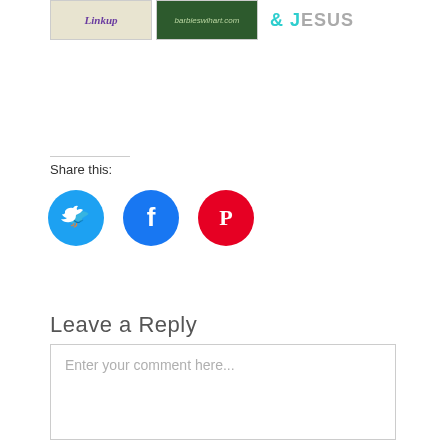[Figure (illustration): Row of three items: a decorative image with 'Linkup' text in purple italic, a dark green image with 'barbieswihart.com' text, and a styled text logo reading '& JESUS' with ampersand and J in teal, remaining letters in gray]
Share this:
[Figure (infographic): Three circular social media share buttons: Twitter (blue circle with bird icon), Facebook (dark blue circle with f icon), Pinterest (red circle with P icon)]
Leave a Reply
Enter your comment here...